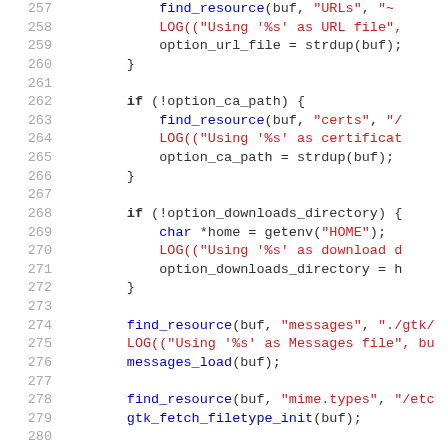[Figure (screenshot): Source code listing showing C code lines 257-286 with syntax highlighting. Line numbers in gray on left, keywords in bold black, string literals in red, function calls and identifiers in blue or black.]